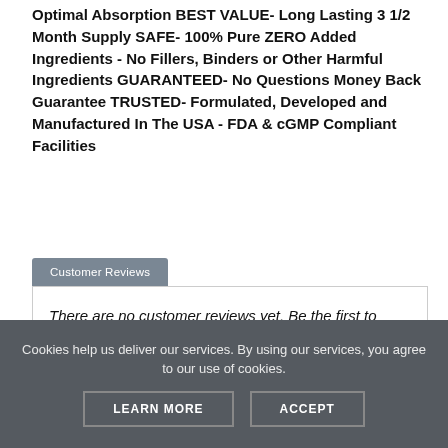Optimal Absorption BEST VALUE- Long Lasting 3 1/2 Month Supply SAFE- 100% Pure ZERO Added Ingredients - No Fillers, Binders or Other Harmful Ingredients GUARANTEED- No Questions Money Back Guarantee TRUSTED- Formulated, Developed and Manufactured In The USA - FDA & cGMP Compliant Facilities
Customer Reviews
There are no customer reviews yet. Be the first to Write a Review!
Cookies help us deliver our services. By using our services, you agree to our use of cookies.